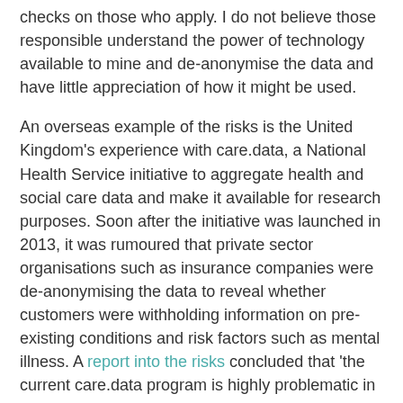checks on those who apply. I do not believe those responsible understand the power of technology available to mine and de-anonymise the data and have little appreciation of how it might be used.
An overseas example of the risks is the United Kingdom's experience with care.data, a National Health Service initiative to aggregate health and social care data and make it available for research purposes. Soon after the initiative was launched in 2013, it was rumoured that private sector organisations such as insurance companies were de-anonymising the data to reveal whether customers were withholding information on pre-existing conditions and risk factors such as mental illness. A report into the risks concluded that 'the current care.data program is highly problematic in its flawed protection of patient anonymity, an unsuitable opt-out system, unclear criteria for accessing the collected health data, and the risk it poses to the trust between patients and general practitioners.'
There are many other examples of the lack of adequate protection for individual data in government, including here in New Zealand. The 2018 regulation that Minister of Social...